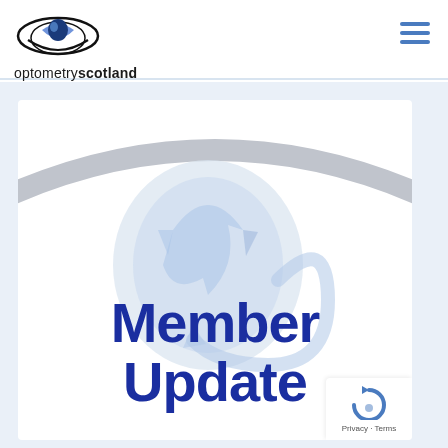[Figure (logo): Optometry Scotland logo: abstract eye shape in blue and black with oval ellipses, with wordmark 'optometryscotland' below in black/bold text]
[Figure (illustration): Optometry Scotland member update banner image: large white card on light blue background featuring a stylised grey eye/lens graphic with blue recycling-arrow motif and bold dark blue text reading 'Member Update']
Member Update